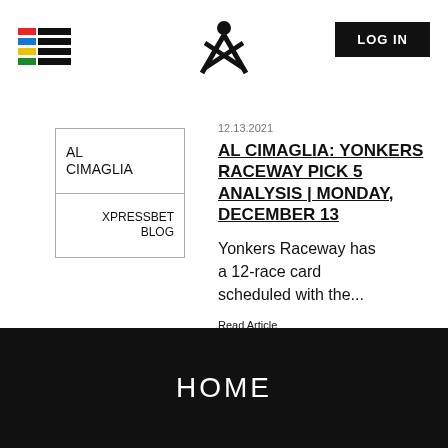[Figure (logo): Colored horizontal lines logo (red, black, blue, black, yellow/green, black) stacked rows]
[Figure (logo): XpressBet X person icon logo in center of header]
LOG IN
[Figure (logo): AL CIMAGLIA XPRESSBET BLOG blog card with border]
12.13.2021
AL CIMAGLIA: YONKERS RACEWAY PICK 5 ANALYSIS | MONDAY, DECEMBER 13
Yonkers Raceway has a 12-race card scheduled with the...
Read Article
HOME